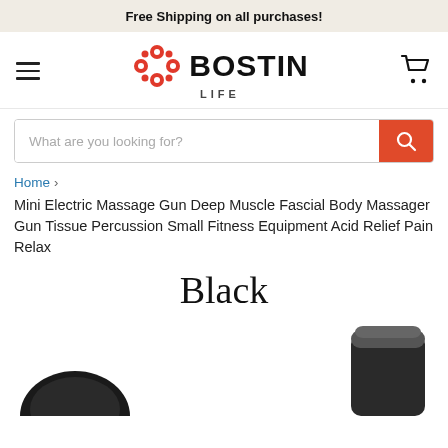Free Shipping on all purchases!
[Figure (logo): Bostin Life logo with red molecular/flower icon and bold BOSTIN text with LIFE subtitle]
[Figure (screenshot): Search bar with placeholder text 'What are you looking for?' and red search button]
Home > Mini Electric Massage Gun Deep Muscle Fascial Body Massager Gun Tissue Percussion Small Fitness Equipment Acid Relief Pain Relax
Black
[Figure (photo): Two black massage gun devices shown side by side, partially cropped at bottom of page]